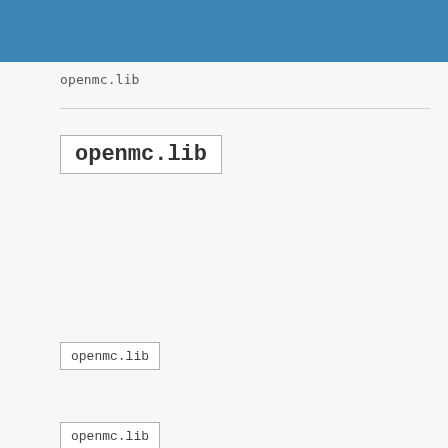openmc.lib
openmc.lib
openmc.lib
openmc.lib